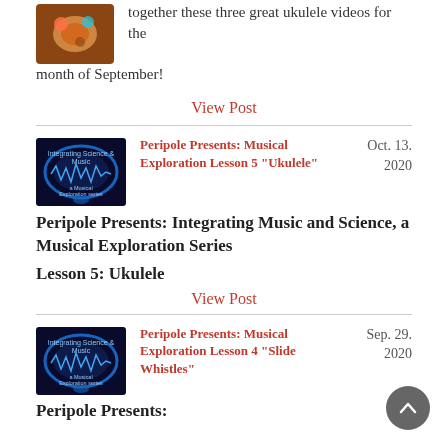together these three great ukulele videos for the month of September!
View Post
Peripole Presents: Musical Exploration Lesson 5 "Ukulele"
Oct. 13. 2020
Peripole Presents: Integrating Music and Science, a Musical Exploration Series
Lesson 5: Ukulele
View Post
Peripole Presents: Musical Exploration Lesson 4 "Slide Whistles"
Sep. 29. 2020
Peripole Presents: